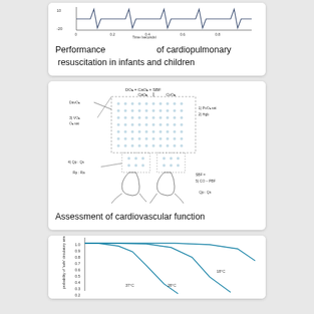[Figure (continuous-plot): Line chart showing cardiopulmonary resuscitation waveform over time (seconds), with y-axis going to -20, x-axis from 0 to 0.8]
Performance of cardiopulmonary resuscitation in infants and children
[Figure (schematic): Cardiovascular function diagram showing DO2 = CaO2 x SBF equation, with labeled components: CaO2, CvO2, DavO2, VO2, O2 sat, Qp:Qs, Rp:Ra, SBF, CO-PBF, with dotted lung diagram and heart/vessels]
Assessment of cardiovascular function
[Figure (line-chart): Line chart showing probability of safe circulatory arrest vs time, with curves at 37°C, 28°C, and 18°C, y-axis from 0.2 to 1.0]